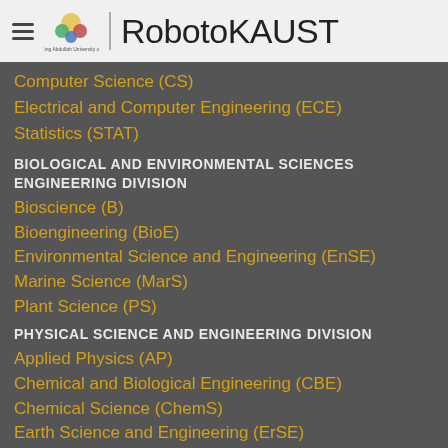RobotoKAUST
Computer Science (CS)
Electrical and Computer Engineering (ECE)
Statistics (STAT)
BIOLOGICAL AND ENVIRONMENTAL SCIENCES ENGINEERING DIVISION
Bioscience (B)
Bioengineering (BioE)
Environmental Science and Engineering (EnSE)
Marine Science (MarS)
Plant Science (PS)
PHYSICAL SCIENCE AND ENGINEERING DIVISION
Applied Physics (AP)
Chemical and Biological Engineering (CBE)
Chemical Science (ChemS)
Earth Science and Engineering (ErSE)
Energy Resources and Petroleum Engineering (ErPE)